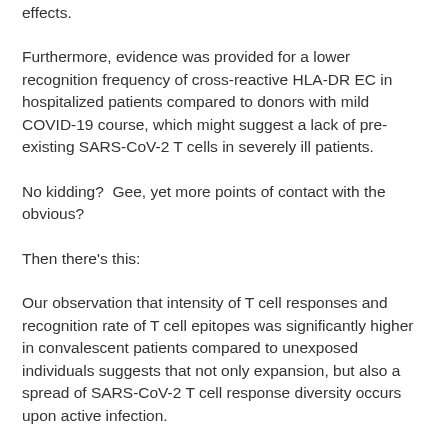effects.
Furthermore, evidence was provided for a lower recognition frequency of cross-reactive HLA-DR EC in hospitalized patients compared to donors with mild COVID-19 course, which might suggest a lack of pre-existing SARS-CoV-2 T cells in severely ill patients.
No kidding?  Gee, yet more points of contact with the obvious?
Then there's this:
Our observation that intensity of T cell responses and recognition rate of T cell epitopes was significantly higher in convalescent patients compared to unexposed individuals suggests that not only expansion, but also a spread of SARS-CoV-2 T cell response diversity occurs upon active infection.
Let me be clear: The entire premise of all of the "mitigations" and demand for mass-vaccination relied on a lie; that this supposedly well-recognized high-valued and admiring point...